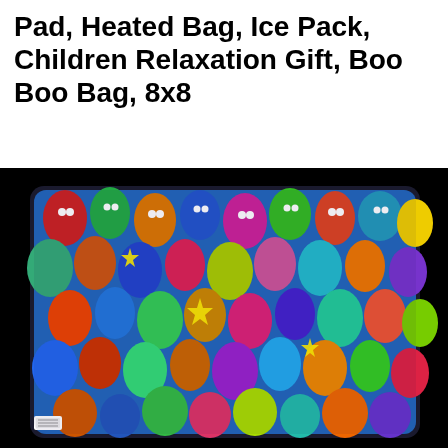Pad, Heated Bag, Ice Pack, Children Relaxation Gift, Boo Boo Bag, 8x8
[Figure (photo): Product photo of a square fabric heating pad/ice pack (8x8 inches) covered in colorful cartoon cats in various bright colors (blue, red, green, yellow, orange, teal, purple) with expressive faces, set against a black background. A small white label is visible at the bottom left corner of the item.]